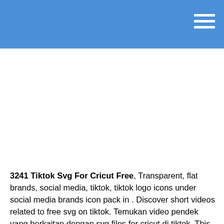3241 Tiktok Svg For Cricut Free, Transparent, flat brands, social media, tiktok, tiktok logo icons under social media brands icon pack in . Discover short videos related to free svg on tiktok. Temukan video pendek yang berkaitan dengan svg files for cricut di tiktok. This logo is compatible with eps, ai, psd and adobe pdf formats.